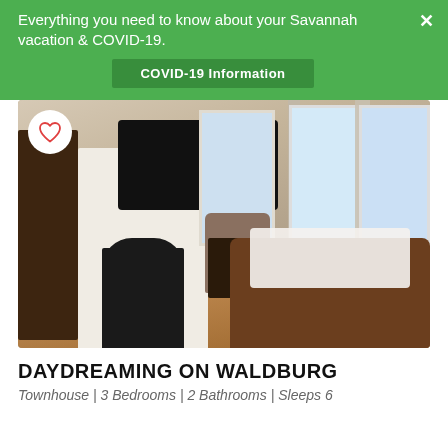Everything you need to know about your Savannah vacation & COVID-19.
COVID-19 Information
[Figure (photo): Interior photo of a living room with leather sofas, white fireplace with mounted TV, bay windows with drapes, hardwood floors, and armchair.]
DAYDREAMING ON WALDBURG
Townhouse | 3 Bedrooms | 2 Bathrooms | Sleeps 6